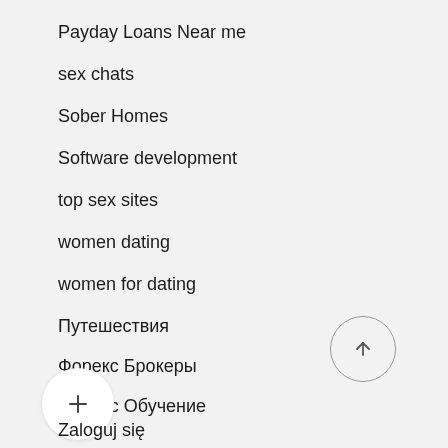Payday Loans Near me
sex chats
Sober Homes
Software development
top sex sites
women dating
women for dating
Путешествия
Форекс Брокеры
Форекс Обучение
[Figure (other): Circular up-arrow button]
[Figure (other): Circular plus button]
Zaloguj się